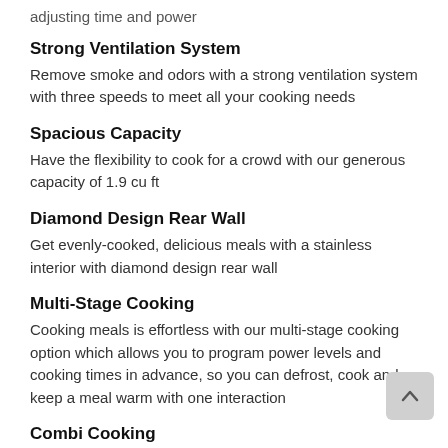adjusting time and power
Strong Ventilation System
Remove smoke and odors with a strong ventilation system with three speeds to meet all your cooking needs
Spacious Capacity
Have the flexibility to cook for a crowd with our generous capacity of 1.9 cu ft
Diamond Design Rear Wall
Get evenly-cooked, delicious meals with a stainless interior with diamond design rear wall
Multi-Stage Cooking
Cooking meals is effortless with our multi-stage cooking option which allows you to program power levels and cooking times in advance, so you can defrost, cook and keep a meal warm with one interaction
Combi Cooking
Get the best of both worlds with combi cooking which combines the speed of a microwave with browning and crisping power of convection